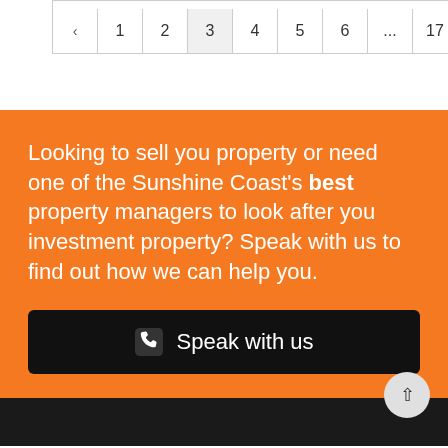[Figure (other): Pagination bar with navigation arrows and page numbers: < 1 2 3 4 5 6 ... 17 >]
Looking to sell you property or need one of the Sunshine Coast's best property managers to look after you investment property? Speak with us to find out how we can help you.
Speak with us